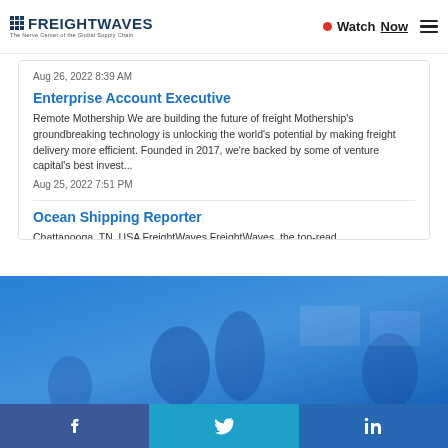FREIGHTWAVES - The Nerve Center of the Global Supply Chain | Watch Now | Menu
Aug 26, 2022 8:39 AM
Enterprise Account Executive
Remote Mothership We are building the future of freight Mothership's groundbreaking technology is unlocking the world's potential by making freight delivery more efficient. Founded in 2017, we're backed by some of venture capital's best invest...
Aug 25, 2022 7:51 PM
Ocean Shipping Reporter
Chattanooga, TN, USA FreightWaves FreightWaves, the top-read
View More Jobs
[Figure (photo): Blue-tinted photo of people in a meeting or office setting, overlaid with a blue color wash.]